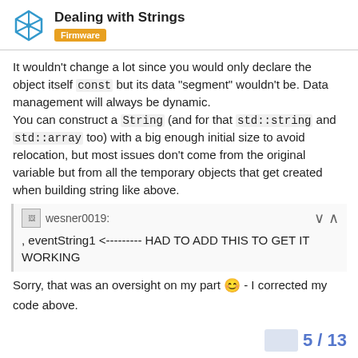Dealing with Strings — Firmware
It wouldn't change a lot since you would only declare the object itself const but its data "segment" wouldn't be. Data management will always be dynamic.
You can construct a String (and for that std::string and std::array too) with a big enough initial size to avoid relocation, but most issues don't come from the original variable but from all the temporary objects that get created when building string like above.
wesner0019:
, eventString1 <--------- HAD TO ADD THIS TO GET IT WORKING
Sorry, that was an oversight on my part 😊 - I corrected my code above.
5 / 13